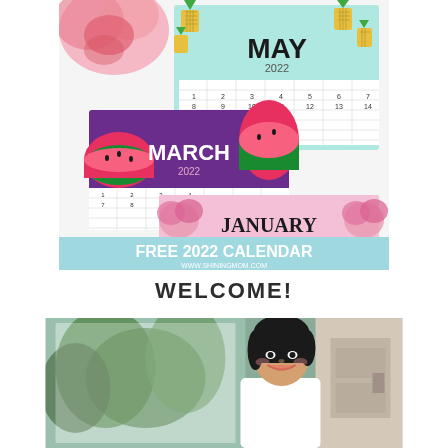[Figure (illustration): Free 2022 Calendar promotional image showing three calendar pages: May 2022 with pineapple theme, March 2022 with watermelon theme, and January 2022 with floral/rose theme. Bottom banner reads FREE 2022 CALENDAR www.shiningmom.com]
WELCOME!
[Figure (photo): A smiling young Asian woman standing near a window with greenery visible outside. She appears to be in a home setting.]